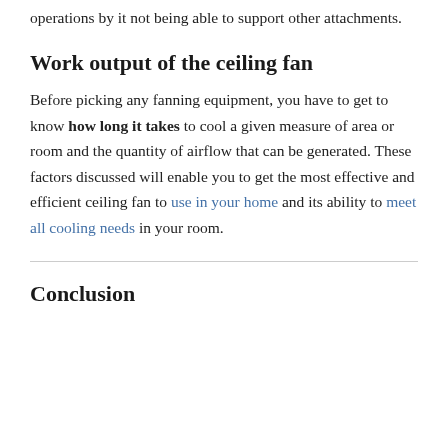operations by it not being able to support other attachments.
Work output of the ceiling fan
Before picking any fanning equipment, you have to get to know how long it takes to cool a given measure of area or room and the quantity of airflow that can be generated. These factors discussed will enable you to get the most effective and efficient ceiling fan to use in your home and its ability to meet all cooling needs in your room.
Conclusion